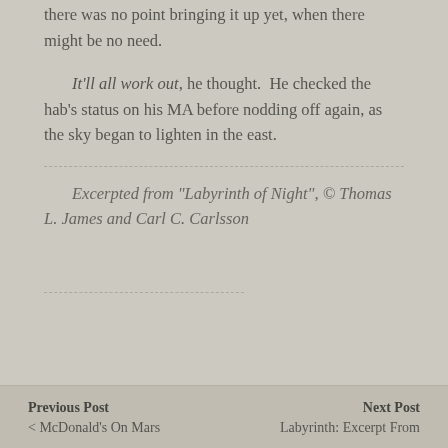there was no point bringing it up yet, when there might be no need.
It'll all work out, he thought.  He checked the hab's status on his MA before nodding off again, as the sky began to lighten in the east.
Excerpted from “Labyrinth of Night”, © Thomas L. James and Carl C. Carlsson
Previous Post
< McDonald’s On Mars
Next Post
Labyrinth: Excerpt From